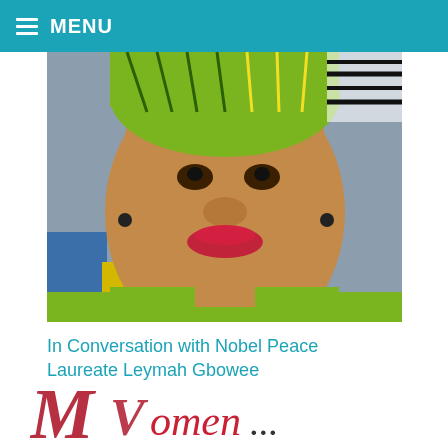MENU
[Figure (photo): Portrait photo of Nobel Peace Laureate Leymah Gbowee, a woman wearing a colorful African print headwrap and clothing, looking slightly upward, close-up face shot]
In Conversation with Nobel Peace Laureate Leymah Gbowee
[Figure (logo): Partial logo text in red and dark script lettering, partially cut off at bottom of page]